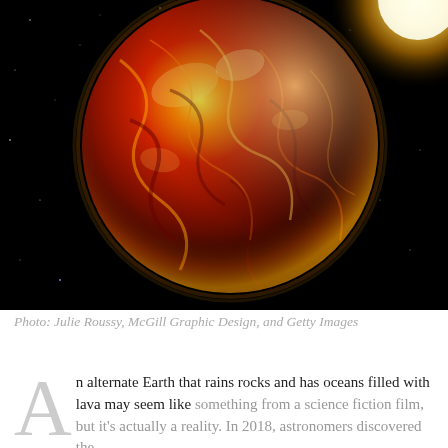[Figure (illustration): Artistic rendering of a lava planet (exoplanet) in space — a large fiery sphere with orange, red, and yellow swirling surface against a black star-filled background, with a bright star or sun visible in the upper right corner.]
Photo: Julie Roussy, McGill Graphic Design, and Getty Images
An alternate Earth that rains rocks and has oceans filled with lava may seem like something from a science fiction film, but it's actually a reality. In 2018, astronomers discovered the